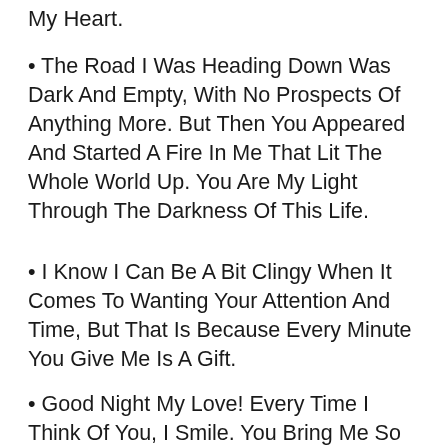My Heart.
• The Road I Was Heading Down Was Dark And Empty, With No Prospects Of Anything More. But Then You Appeared And Started A Fire In Me That Lit The Whole World Up. You Are My Light Through The Darkness Of This Life.
• I Know I Can Be A Bit Clingy When It Comes To Wanting Your Attention And Time, But That Is Because Every Minute You Give Me Is A Gift.
• Good Night My Love! Every Time I Think Of You, I Smile. You Bring Me So Much Joy And Happiness I Can't Begin To Explain.